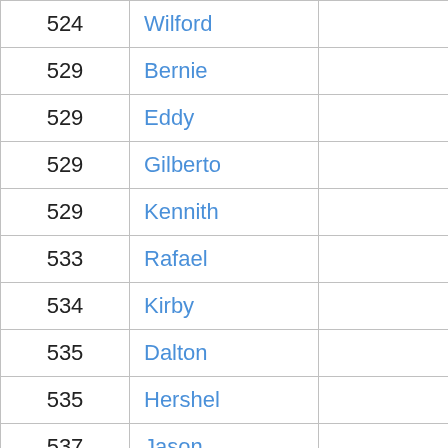| 524 | Wilford | 143 |
| 529 | Bernie | 142 |
| 529 | Eddy | 142 |
| 529 | Gilberto | 142 |
| 529 | Kennith | 142 |
| 533 | Rafael | 140 |
| 534 | Kirby | 139 |
| 535 | Dalton | 138 |
| 535 | Hershel | 138 |
| 537 | Jason | 137 |
| 537 | Lenard | 137 |